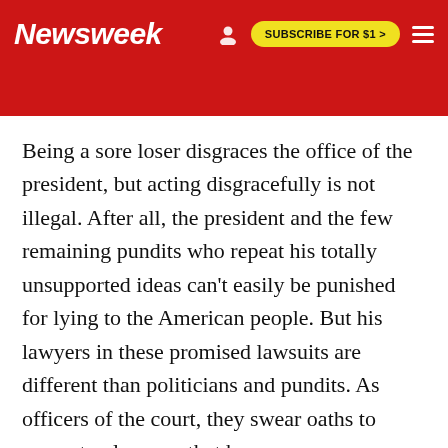Newsweek | SUBSCRIBE FOR $1 >
Being a sore loser disgraces the office of the president, but acting disgracefully is not illegal. After all, the president and the few remaining pundits who repeat his totally unsupported ideas can't easily be punished for lying to the American people. But his lawyers in these promised lawsuits are different than politicians and pundits. As officers of the court, they swear oaths to present only cases that have a